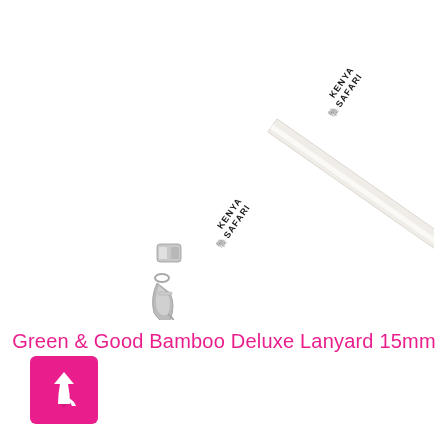[Figure (photo): A white lanyard with 'KENYA SAFARI' printed in black text, shown diagonally from upper-right to lower-left, with a metal swivel clip and lobster clasp at the bottom end.]
Green & Good Bamboo Deluxe Lanyard 15mm
[Figure (illustration): A magenta/pink square icon button with a white upward-curving arrow (back-to-top indicator).]